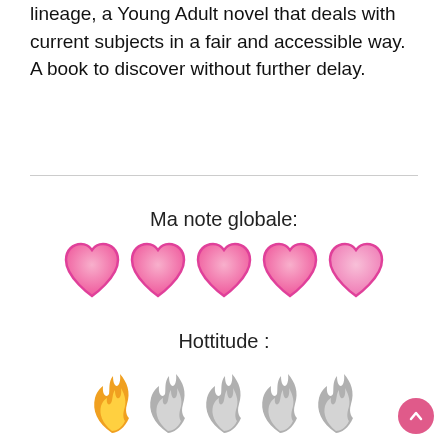lineage, a Young Adult novel that deals with current subjects in a fair and accessible way. A book to discover without further delay.
Ma note globale:
[Figure (illustration): Five pink heart emoji icons in a row representing a 5/5 rating]
Hottitude :
[Figure (illustration): Five flame icons in a row: first one is orange/yellow (active), remaining four are grey (inactive), representing a 1/5 hottitude rating]